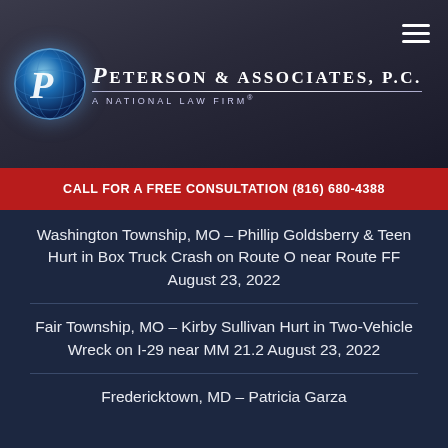[Figure (logo): Peterson & Associates, P.C. law firm logo with globe and firm name]
CALL FOR A FREE CONSULTATION (816) 680-4388
Washington Township, MO – Phillip Goldsberry & Teen Hurt in Box Truck Crash on Route O near Route FF August 23, 2022
Fair Township, MO – Kirby Sullivan Hurt in Two-Vehicle Wreck on I-29 near MM 21.2 August 23, 2022
Fredericktown, MD – Patricia Garza